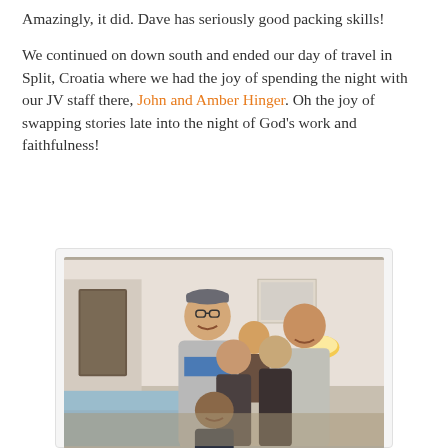Amazingly, it did. Dave has seriously good packing skills!
We continued on down south and ended our day of travel in Split, Croatia where we had the joy of spending the night with our JV staff there, John and Amber Hinger. Oh the joy of swapping stories late into the night of God's work and faithfulness!
[Figure (photo): Family group photo of John and Amber Hinger with their children, taken indoors in a home setting. Adults and children smiling at camera.]